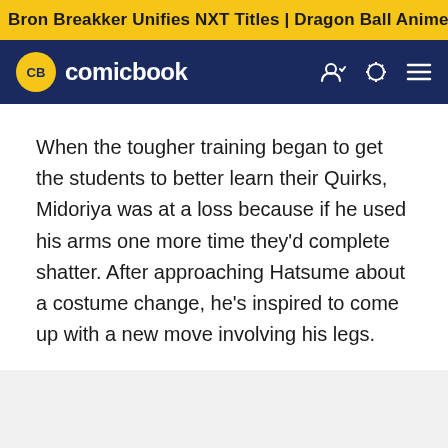Bron Breakker Unifies NXT Titles | Dragon Ball Anime Rumor
[Figure (logo): ComicBook.com logo with CB circular yellow badge and white text 'comicbook' on dark navy navigation bar with user, theme toggle, and menu icons]
When the tougher training began to get the students to better learn their Quirks, Midoriya was at a loss because if he used his arms one more time they'd complete shatter. After approaching Hatsume about a costume change, he's inspired to come up with a new move involving his legs.